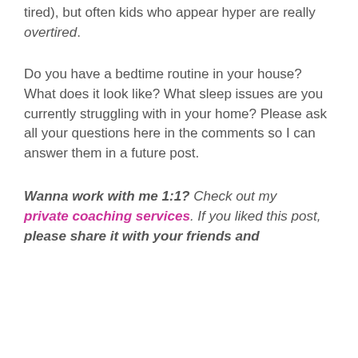tired), but often kids who appear hyper are really overtired.
Do you have a bedtime routine in your house? What does it look like? What sleep issues are you currently struggling with in your home? Please ask all your questions here in the comments so I can answer them in a future post.
Wanna work with me 1:1? Check out my private coaching services. If you liked this post, please share it with your friends and